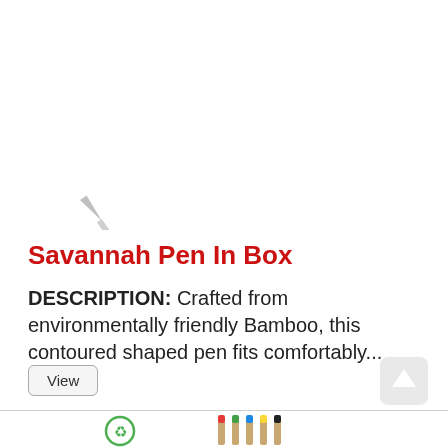[Figure (photo): A bamboo ballpoint pen with silver metal accents, shown diagonally. The pen has a wooden barrel with 'Total Filters' branding and a pointed silver tip.]
Savannah Pen In Box
DESCRIPTION: Crafted from environmentally friendly Bamboo, this contoured shaped pen fits comfortably...
[Figure (illustration): Recycle symbol icon in green, next to several eco bamboo pens with colored caps (red, green, blue, yellow, black).]